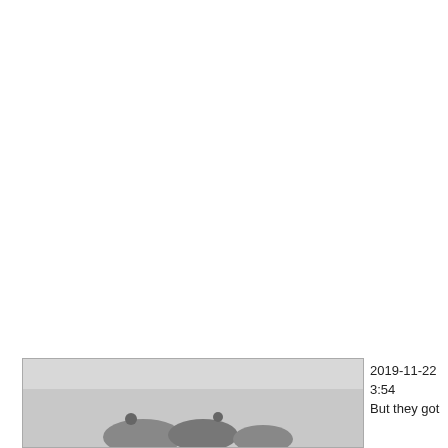[Figure (photo): A photograph inside a light gray bordered box showing what appears to be animals or objects on a surface, partially visible at the bottom of the page.]
2019-11-22
3:54
But they got